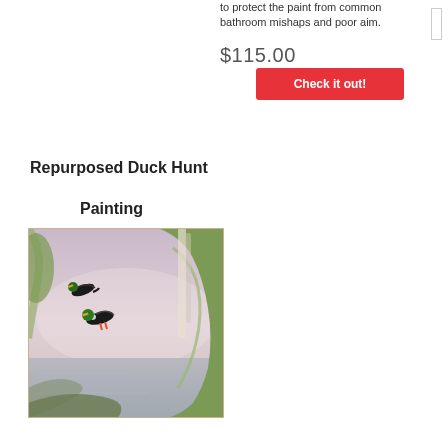to protect the paint from common bathroom mishaps and poor aim.
$115.00
Check it out!
Repurposed Duck Hunt Painting
[Figure (photo): A repurposed Duck Hunt painting showing two cartoon ducks (with green heads from the classic Nintendo game) flying over a misty lake landscape with trees, in an oil-painting style.]